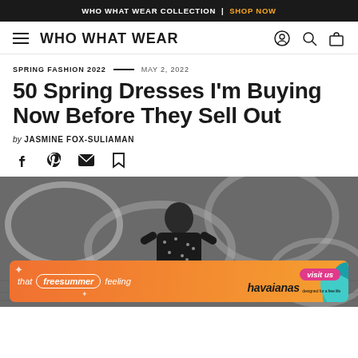WHO WHAT WEAR COLLECTION | SHOP NOW
WHO WHAT WEAR
SPRING FASHION 2022 — MAY 2, 2022
50 Spring Dresses I'm Buying Now Before They Sell Out
by JASMINE FOX-SULIAMAN
[Figure (photo): Woman wearing a black floral/sparkle dress leaning against a wall with graffiti. An orange advertisement banner for Havaianas appears at the bottom of the photo with text 'that free summer feeling' and 'visit us'.]